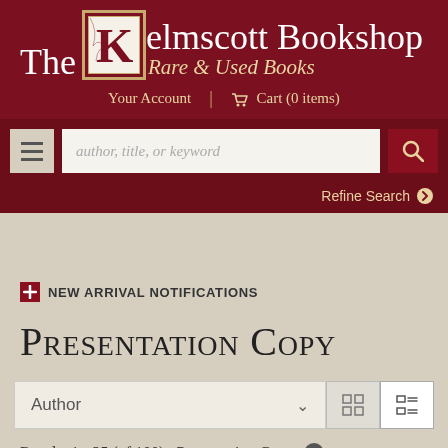The Kelmscott Bookshop — Rare & Used Books
Your Account | Cart (0 items)
author, title, or keyword
Refine Search
NEW ARRIVAL NOTIFICATIONS
Presentation Copy
Author
Results 1 - 25 (of 100)  Presentation Copy